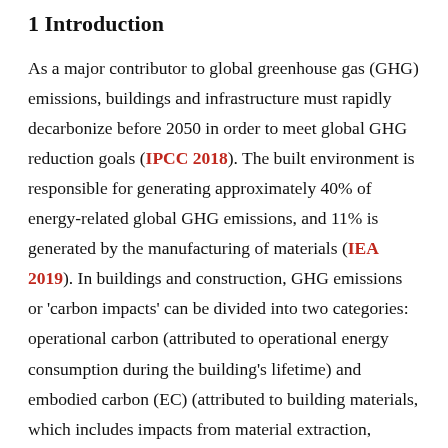1 Introduction
As a major contributor to global greenhouse gas (GHG) emissions, buildings and infrastructure must rapidly decarbonize before 2050 in order to meet global GHG reduction goals (IPCC 2018). The built environment is responsible for generating approximately 40% of energy-related global GHG emissions, and 11% is generated by the manufacturing of materials (IEA 2019). In buildings and construction, GHG emissions or 'carbon impacts' can be divided into two categories: operational carbon (attributed to operational energy consumption during the building's lifetime) and embodied carbon (EC) (attributed to building materials, which includes impacts from material extraction, manufacturing and transportation, as well